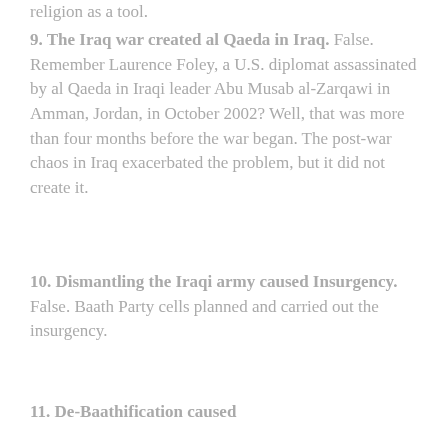religion as a tool.
9. The Iraq war created al Qaeda in Iraq. False. Remember Laurence Foley, a U.S. diplomat assassinated by al Qaeda in Iraqi leader Abu Musab al-Zarqawi in Amman, Jordan, in October 2002? Well, that was more than four months before the war began. The post-war chaos in Iraq exacerbated the problem, but it did not create it.
10. Dismantling the Iraqi army caused Insurgency. False. Baath Party cells planned and carried out the insurgency.
11. De-Baathification caused